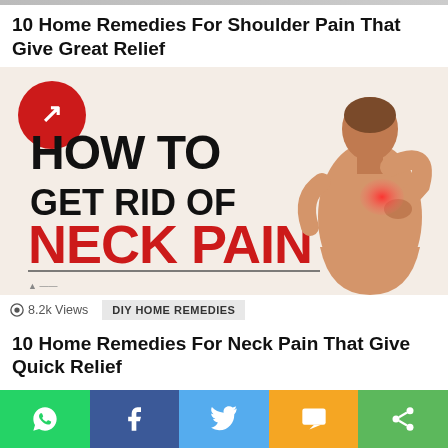10 Home Remedies For Shoulder Pain That Give Great Relief
[Figure (infographic): Infographic showing 'HOW TO GET RID OF NECK PAIN' with bold text and illustration of person touching neck/shoulder with red pain indicator, and a red circular logo with arrows. Views: 8.2k. Tag: DIY HOME REMEDIES.]
10 Home Remedies For Neck Pain That Give Quick Relief
Share buttons: WhatsApp, Facebook, Twitter, SMS, Share